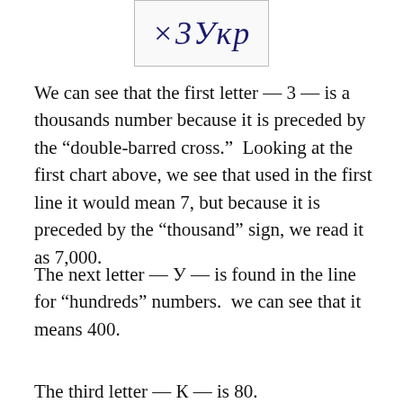[Figure (photo): Handwritten text showing '×3Укр' in dark blue ink on a light background, within a bordered box.]
We can see that the first letter — 3 — is a thousands number because it is preceded by the "double-barred cross."  Looking at the first chart above, we see that used in the first line it would mean 7, but because it is preceded by the "thousand" sign, we read it as 7,000.
The next letter — У — is found in the line for "hundreds" numbers.  we can see that it means 400.
The third letter — К — is 80.